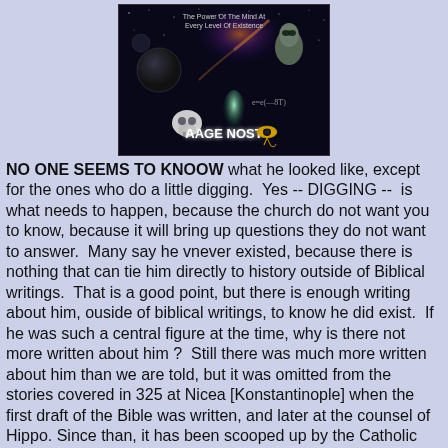[Figure (photo): Book cover for 'Aage Nost' featuring a dark space/galaxy background with a skull, alien figure, Egyptian eye of Ra symbol, and glowing humanoid figure. Text at top reads 'The Power Of The Mind At Every Level Of Existence'. Author name 'AAGE NOST' displayed prominently.]
NO ONE SEEMS TO KNOOW what he looked like, except for the ones who do a little digging.  Yes -- DIGGING --  is what needs to happen, because the church do not want you to know, because it will bring up questions they do not want to answer.  Many say he vnever existed, because there is nothing that can tie him directly to history outside of Biblical writings.  That is a good point, but there is enough writing about him, ouside of biblical writings, to know he did exist.  If he was such a central figure at the time, why is there not more written about him ?  Still there was much more written about him than we are told, but it was omitted from the stories covered in 325 at Nicea [Konstantinople] when the first draft of the Bible was written, and later at the counsel of Hippo. Since than, it has been scooped up by the Catholic Church and "filed away" in the Vatican archives so no one can see